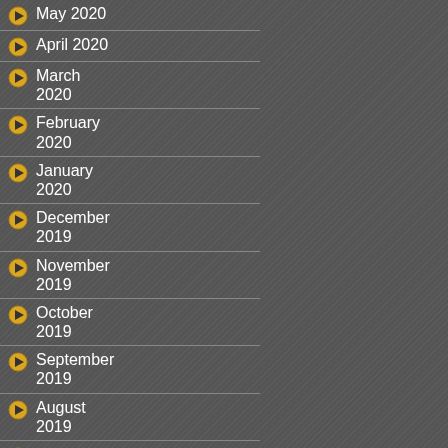May 2020
April 2020
March 2020
February 2020
January 2020
December 2019
November 2019
October 2019
September 2019
August 2019
July 2019
June 2019
May 2019
April 2019
March 2019
February